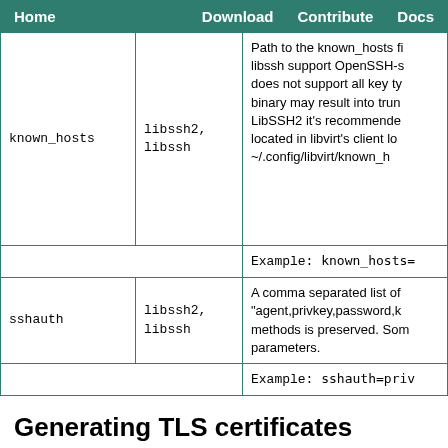Home   Download   Contribute   Docs
| Parameter | Driver | Description |
| --- | --- | --- |
| known_hosts | libssh2, libssh | Path to the known_hosts file. libssh support OpenSSH-s does not support all key ty binary may result into trun LibSSH2 it's recommende located in libvirt's client lo ~/.config/libvirt/known_h |
|  |  | Example: known_hosts= |
| sshauth | libssh2, libssh | A comma separated list of "agent,privkey,password,k methods is preserved. Som parameters. |
|  |  | Example: sshauth=priv |
Generating TLS certificates